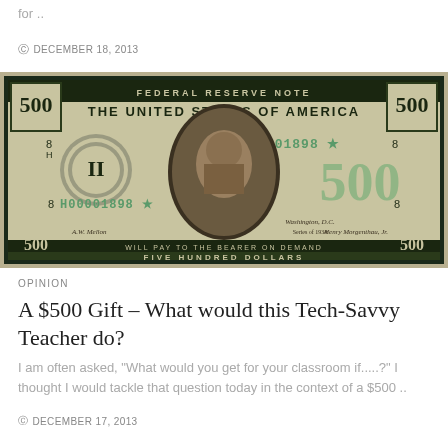for ..
DECEMBER 18, 2013
[Figure (photo): A $500 Federal Reserve Note (bill) showing 'THE UNITED STATES OF AMERICA', serial number H00001898, portrait of William McKinley, Federal Reserve seal, and text 'WILL PAY TO THE BEARER ON DEMAND FIVE HUNDRED DOLLARS']
OPINION
A $500 Gift – What would this Tech-Savvy Teacher do?
I am often asked, "What would you get for your classroom if.....?" I thought I would tackle that question today in the context of a $500 ..
DECEMBER 17, 2013